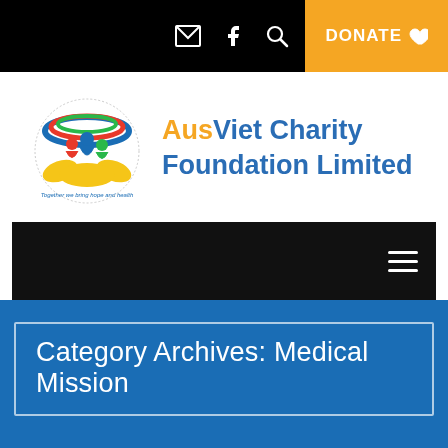DONATE ♥
[Figure (logo): AusViet Charity Foundation Limited logo with colorful figures and hands, circular design with arc colors. Text reads: Together we bring hope and health.]
AusViet Charity Foundation Limited
Category Archives: Medical Mission